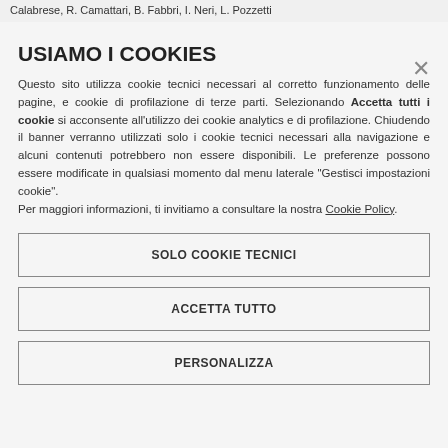Calabrese, R. Camattari, B. Fabbri, I. Neri, L. Pozzetti
USIAMO I COOKIES
Questo sito utilizza cookie tecnici necessari al corretto funzionamento delle pagine, e cookie di profilazione di terze parti. Selezionando Accetta tutti i cookie si acconsente all'utilizzo dei cookie analytics e di profilazione. Chiudendo il banner verranno utilizzati solo i cookie tecnici necessari alla navigazione e alcuni contenuti potrebbero non essere disponibili. Le preferenze possono essere modificate in qualsiasi momento dal menu laterale "Gestisci impostazioni cookie". Per maggiori informazioni, ti invitiamo a consultare la nostra Cookie Policy.
SOLO COOKIE TECNICI
ACCETTA TUTTO
PERSONALIZZA